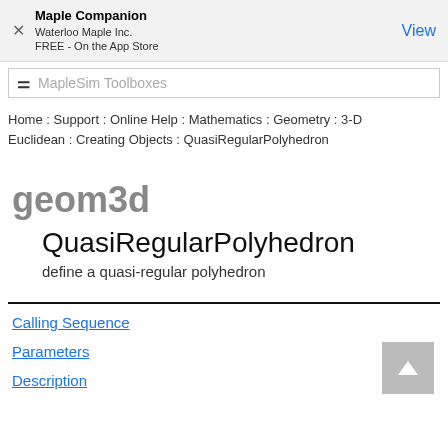Maple Companion
Waterloo Maple Inc.
FREE - On the App Store
MapleSim Toolboxes
Home : Support : Online Help : Mathematics : Geometry : 3-D Euclidean : Creating Objects : QuasiRegularPolyhedron
geom3d
QuasiRegularPolyhedron
define a quasi-regular polyhedron
Calling Sequence
Parameters
Description